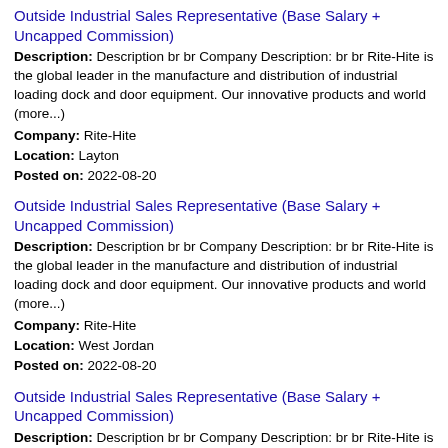Outside Industrial Sales Representative (Base Salary + Uncapped Commission)
Description: Description br br Company Description: br br Rite-Hite is the global leader in the manufacture and distribution of industrial loading dock and door equipment. Our innovative products and world (more...)
Company: Rite-Hite
Location: Layton
Posted on: 2022-08-20
Outside Industrial Sales Representative (Base Salary + Uncapped Commission)
Description: Description br br Company Description: br br Rite-Hite is the global leader in the manufacture and distribution of industrial loading dock and door equipment. Our innovative products and world (more...)
Company: Rite-Hite
Location: West Jordan
Posted on: 2022-08-20
Outside Industrial Sales Representative (Base Salary + Uncapped Commission)
Description: Description br br Company Description: br br Rite-Hite is the global leader in the manufacture and distribution of industrial loading dock and door equipment. Our innovative products and world (more...)
Company: Rite-Hite